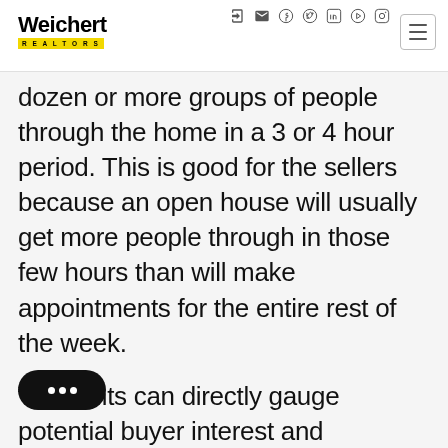Weichert REALTORS
dozen or more groups of people through the home in a 3 or 4 hour period. This is good for the sellers because an open house will usually get more people through in those few hours than will make appointments for the entire rest of the week.
#2. Agents can directly gauge potential buyer interest and expectations by asking important questions and seeing buyer reactions as they walk them through the home.